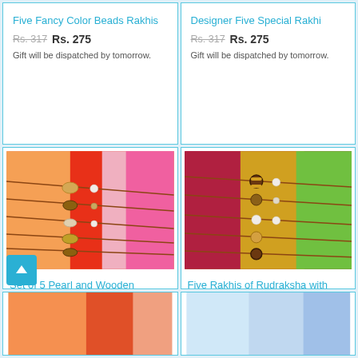Five Fancy Color Beads Rakhis
Rs. 317  Rs. 275
Gift will be dispatched by tomorrow.
Designer Five Special Rakhi
Rs. 317  Rs. 275
Gift will be dispatched by tomorrow.
[Figure (photo): Set of 5 pearl and wooden rakhis displayed on colorful fabric backgrounds (orange, pink)]
Set of 5 Pearl and Wooden
Rs. 317  Rs. 275
Gift will be dispatched by tomorrow.
[Figure (photo): Five rakhis of Rudraksha displayed on colorful fabric backgrounds (red, yellow, green)]
Five Rakhis of Rudraksha with
Rs. 317  Rs. 275
Gift will be dispatched by tomorrow.
[Figure (photo): Partial view of rakhi product - bottom left]
[Figure (photo): Partial view of rakhi product - bottom right]